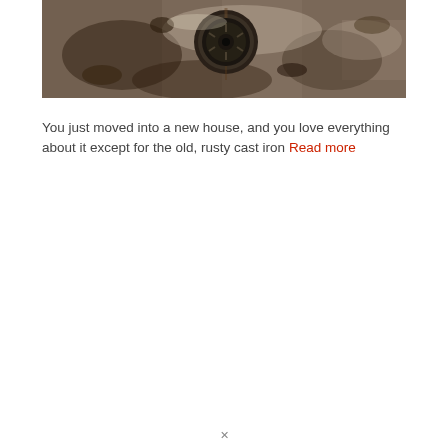[Figure (photo): Close-up photograph of an old, rusty, dirty cast iron sink drain with heavy staining and grime around the drain opening.]
You just moved into a new house, and you love everything about it except for the old, rusty cast iron Read more
x